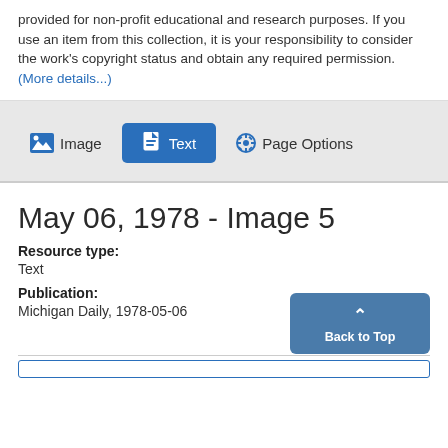provided for non-profit educational and research purposes. If you use an item from this collection, it is your responsibility to consider the work's copyright status and obtain any required permission. (More details...)
[Figure (screenshot): Toolbar with Image, Text, and Page Options buttons on a gray background]
May 06, 1978 - Image 5
Resource type: Text
Publication: Michigan Daily, 1978-05-06